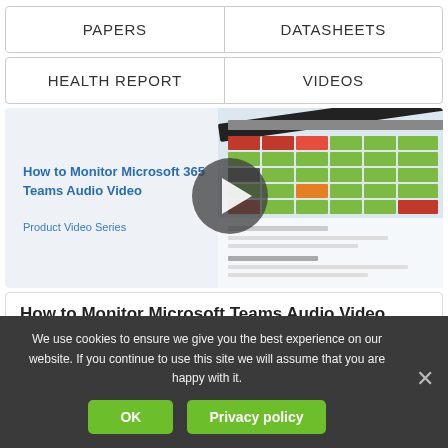PAPERS
DATASHEETS
HEALTH REPORT
VIDEOS
[Figure (screenshot): Video thumbnail showing How to Monitor Microsoft 365 Teams Audio Video with a play button and a screenshot of a monitoring dashboard with colored cells]
How to Monitor Microsoft 365 Teams Audio Video
Product Video Series
How to Monitor Microsoft Teams Audio Video Perf...
We use cookies to ensure we give you the best experience on our website. If you continue to use this site we will assume that you are happy with it.
OK
Privacy policy